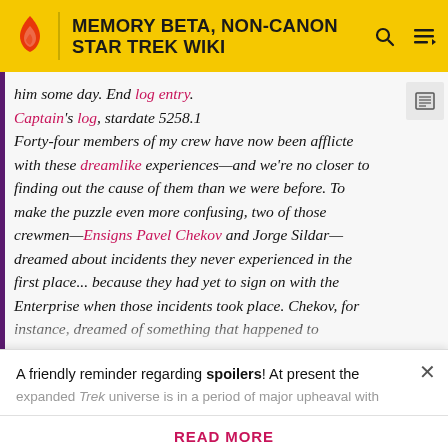MEMORY BETA, NON-CANON STAR TREK WIKI
him some day. End log entry.
Captain's log, stardate 5258.1
Forty-four members of my crew have now been afflicted with these dreamlike experiences—and we're no closer to finding out the cause of them than we were before. To make the puzzle even more confusing, two of those crewmen—Ensigns Pavel Chekov and Jorge Sildar—dreamed about incidents they never experienced in the first place... because they had yet to sign on with the Enterprise when those incidents took place. Chekov, for instance, dreamed of something that happened to
A friendly reminder regarding spoilers! At present the expanded Trek universe is in a period of major upheaval with
READ MORE